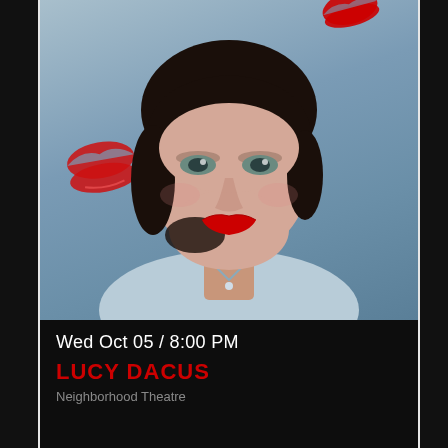[Figure (photo): Portrait photo of Lucy Dacus, a young woman with dark hair and red lipstick, wearing a denim shirt, against a light blue-gray background with red kiss mark decorations.]
Wed Oct 05 / 8:00 PM
LUCY DACUS
Neighborhood Theatre